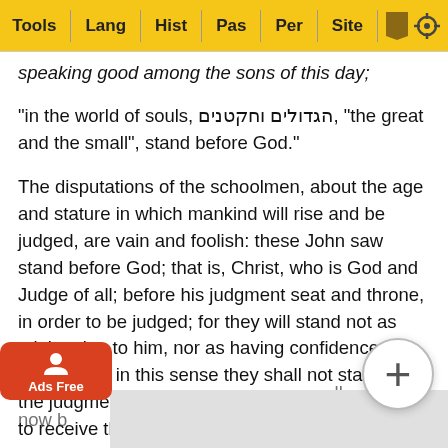Tools | Lang | Hist | Pas | Per | Site
speaking good among the sons of this day;
"in the world of souls, הגדולים וחקטנים, "the great and the small", stand before God."
The disputations of the schoolmen, about the age and stature in which mankind will rise and be judged, are vain and foolish: these John saw stand before God; that is, Christ, who is God and Judge of all; before his judgment seat and throne, in order to be judged; for they will stand not as ministering to him, nor as having confidence before him; in this sense they shall not stand in the judgment, Psalms 1:5 but as guilty persons, to receive their sentence of condemnation. The Alexandrian copy, the Vulgate Latin, and all the Oriental versions read, "before the throne"; the sense is the same, for they stood before the throne, they must stand before him that sat upon it: and the books were opened; the book of God's... which contain all the actions of the wicked...ll now b...ce, in